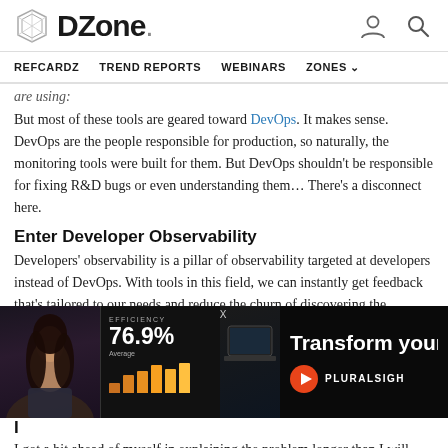DZone
are using:
But most of these tools are geared toward DevOps. It makes sense. DevOps are the people responsible for production, so naturally, the monitoring tools were built for them. But DevOps shouldn't be responsible for fixing R&D bugs or even understanding them… There's a disconnect here.
Enter Developer Observability
Developers' observability is a pillar of observability targeted at developers instead of DevOps. With tools in this field, we can instantly get feedback that's tailored to our needs and reduce the churn of discovering the problem. Before these tools, if a log didn't exist in the pr… ou…
[Figure (screenshot): Advertisement overlay: Pluralsight ad showing '76.9% EFFICIENCY Average' dashboard with bar chart, a person's image, and text 'Transform your techno…' with Pluralsight logo]
In…
I got a bit ahead of myself in explaining the problem longer than I will